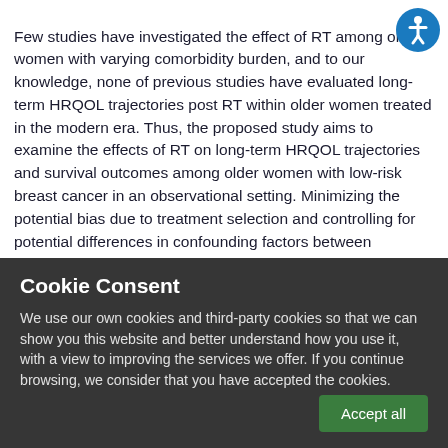Few studies have investigated the effect of RT among older women with varying comorbidity burden, and to our knowledge, none of previous studies have evaluated long-term HRQOL trajectories post RT within older women treated in the modern era. Thus, the proposed study aims to examine the effects of RT on long-term HRQOL trajectories and survival outcomes among older women with low-risk breast cancer in an observational setting. Minimizing the potential bias due to treatment selection and controlling for potential differences in confounding factors between treatment groups are essential in observational comparative effectiveness studies without randomized treatment [30]. To mitigate this
[Figure (other): Accessibility icon — white wheelchair/person symbol inside a blue circle, top-right corner]
Cookie Consent
We use our own cookies and third-party cookies so that we can show you this website and better understand how you use it, with a view to improving the services we offer. If you continue browsing, we consider that you have accepted the cookies.